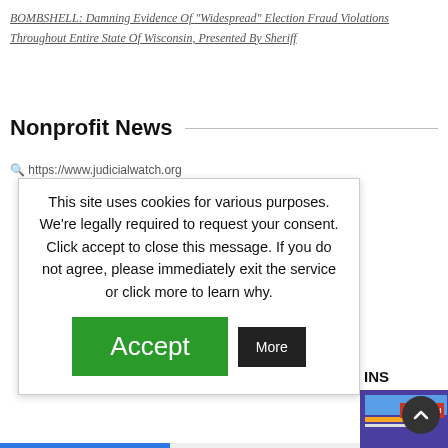BOMBSHELL: Damning Evidence Of "Widespread" Election Fraud Violations Throughout Entire State Of Wisconsin, Presented By Sheriff
Nonprofit News
https://www.judicialwatch.org
[Figure (screenshot): Cookie consent popup dialog over a website. Text reads: 'This site uses cookies for various purposes. We're legally required to request your consent. Click accept to close this message. If you do not agree, please immediately exit the service or click more to learn why.' Green 'Accept' button and black 'More' button shown.]